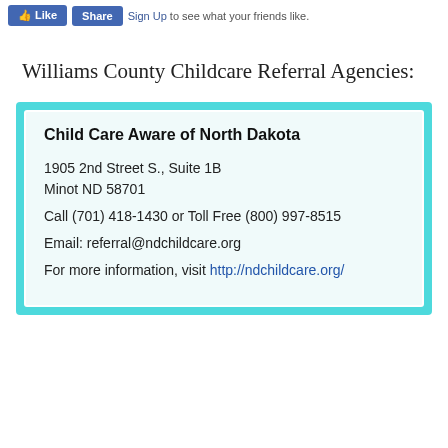Like  Share  Sign Up to see what your friends like.
Williams County Childcare Referral Agencies:
Child Care Aware of North Dakota
1905 2nd Street S., Suite 1B
Minot ND 58701
Call (701) 418-1430 or Toll Free (800) 997-8515
Email: referral@ndchildcare.org
For more information, visit http://ndchildcare.org/